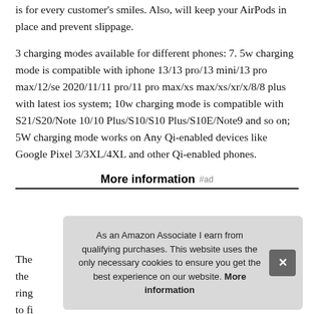is for every customer's smiles. Also, will keep your AirPods in place and prevent slippage.
3 charging modes available for different phones: 7. 5w charging mode is compatible with iphone 13/13 pro/13 mini/13 pro max/12/se 2020/11/11 pro/11 pro max/xs max/xs/xr/x/8/8 plus with latest ios system; 10w charging mode is compatible with S21/S20/Note 10/10 Plus/S10/S10 Plus/S10E/Note9 and so on; 5W charging mode works on Any Qi-enabled devices like Google Pixel 3/3XL/4XL and other Qi-enabled phones.
More information #ad
The the ring to fi
As an Amazon Associate I earn from qualifying purchases. This website uses the only necessary cookies to ensure you get the best experience on our website. More information